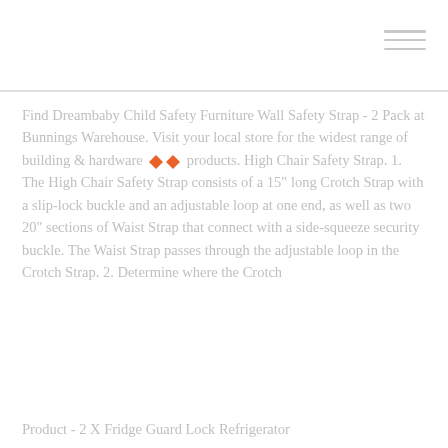menu icon (hamburger)
Find Dreambaby Child Safety Furniture Wall Safety Strap - 2 Pack at Bunnings Warehouse. Visit your local store for the widest range of building & hardware products. High Chair Safety Strap. 1. The High Chair Safety Strap consists of a 15" long Crotch Strap with a slip-lock buckle and an adjustable loop at one end, as well as two 20" sections of Waist Strap that connect with a side-squeeze security buckle. The Waist Strap passes through the adjustable loop in the Crotch Strap. 2. Determine where the Crotch
Product - 2 X Fridge Guard Lock Refrigerator